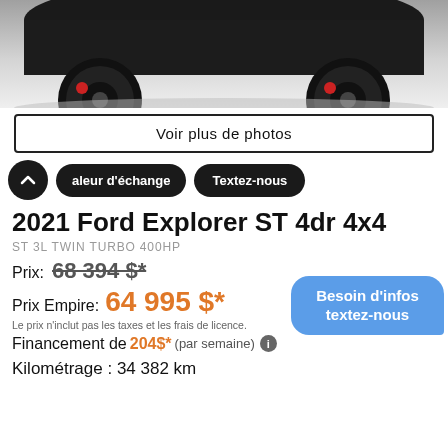[Figure (photo): Photo of a dark/black Ford Explorer ST viewed from front, showing wheel and lower front end in a dealership or garage setting with light grey floor.]
Voir plus de photos
Valeur d'échange   Textez-nous
2021 Ford Explorer ST 4dr 4x4
ST 3L TWIN TURBO 400HP
Prix:  68 394 $*
Prix Empire: 64 995 $*
Le prix n'inclut pas les taxes et les frais de licence.
Financement de 204$* (par semaine)
Kilométrage : 34 382 km
Besoin d'infos textez-nous